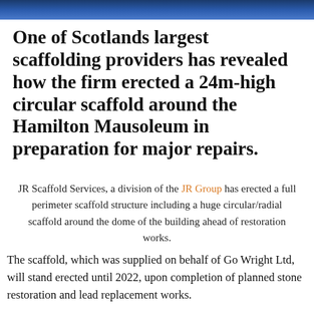[Figure (photo): Dark blue banner image at top of page, likely a photograph of the Hamilton Mausoleum or scaffolding scene, cropped to a narrow strip.]
One of Scotlands largest scaffolding providers has revealed how the firm erected a 24m-high circular scaffold around the Hamilton Mausoleum in preparation for major repairs.
JR Scaffold Services, a division of the JR Group has erected a full perimeter scaffold structure including a huge circular/radial scaffold around the dome of the building ahead of restoration works.
The scaffold, which was supplied on behalf of Go Wright Ltd, will stand erected until 2022, upon completion of planned stone restoration and lead replacement works.